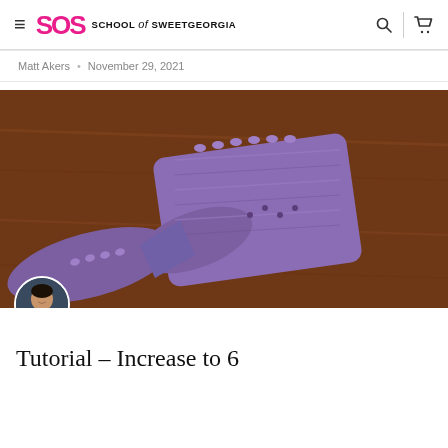≡ SOS SCHOOL of SWEETGEORGIA 🔍 🛒
Matt Akers • November 29, 2021
[Figure (photo): Close-up photograph of purple knitted fabric/swatch on a dark brown wooden surface, showing a knitting increase technique. A circular author avatar photo is overlaid at the bottom left corner.]
Tutorial – Increase to 6